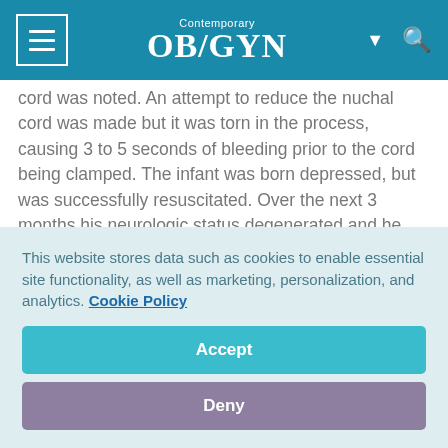Contemporary OB/GYN
cord was noted. An attempt to reduce the nuchal cord was made but it was torn in the process, causing 3 to 5 seconds of bleeding prior to the cord being clamped. The infant was born depressed, but was successfully resuscitated. Over the next 3 months his neurologic status degenerated and he was diagnosed with hypoxic ischemic encephalopathy and subsequently died.
In the lawsuit that followed, the patient alleged negligence in
This website stores data such as cookies to enable essential site functionality, as well as marketing, personalization, and analytics. Cookie Policy
Accept
Deny